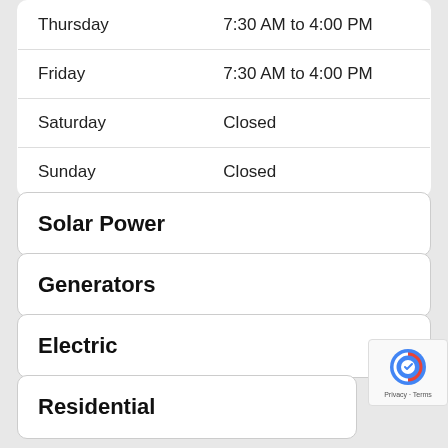| Day | Hours |
| --- | --- |
| Thursday | 7:30 AM to 4:00 PM |
| Friday | 7:30 AM to 4:00 PM |
| Saturday | Closed |
| Sunday | Closed |
Solar Power
Generators
Electric
Residential